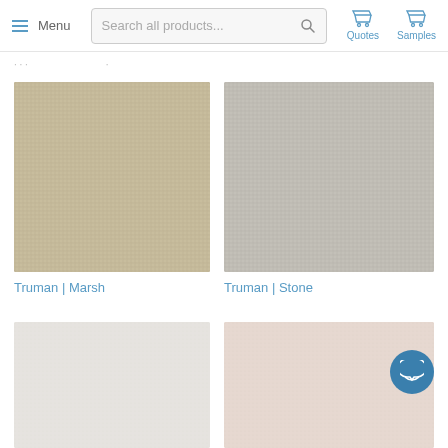Menu | Search all products... | Quotes | Samples
[Figure (photo): Carpet swatch for Truman | Marsh — beige/tan textured carpet]
Truman | Marsh
[Figure (photo): Carpet swatch for Truman | Stone — grey/stone textured carpet]
Truman | Stone
[Figure (photo): Carpet swatch partially visible — light/white color]
[Figure (photo): Carpet swatch partially visible — blush/pink color]